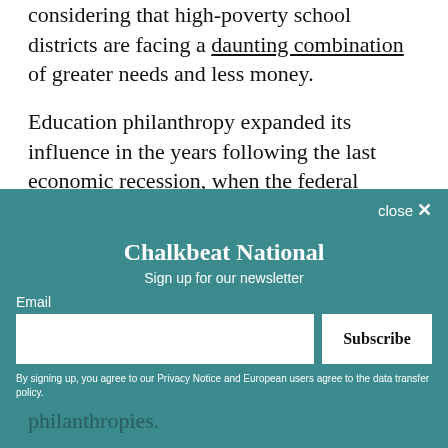considering that high-poverty school districts are facing a daunting combination of greater needs and less money.
Education philanthropy expanded its influence in the years following the last economic recession, when the federal government offered Race to the Top money to states that adopted policies like teacher evaluations and charter schools also favored by big foundations.
That scenario is now repeating, some advocates say, because of this backlash to those policies and
[Figure (screenshot): Newsletter signup overlay for Chalkbeat National with email input field and Subscribe button]
philanthropies.